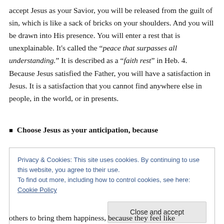accept Jesus as your Savior, you will be released from the guilt of sin, which is like a sack of bricks on your shoulders. And you will be drawn into His presence. You will enter a rest that is unexplainable. It's called the “peace that surpasses all understanding.” It is described as a “faith rest” in Heb. 4.  Because Jesus satisfied the Father, you will have a satisfaction in Jesus. It is a satisfaction that you cannot find anywhere else in people, in the world, or in presents.
Choose Jesus as your anticipation, because
Privacy & Cookies: This site uses cookies. By continuing to use this website, you agree to their use.
To find out more, including how to control cookies, see here: Cookie Policy
others to bring them happiness, because they feel like